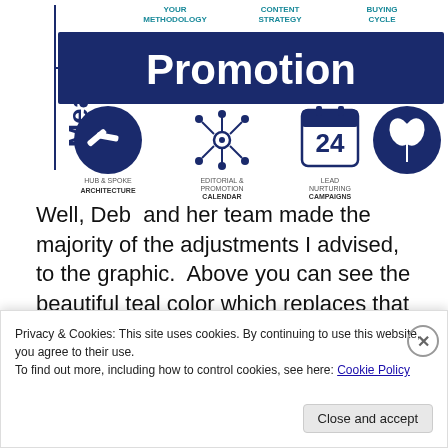[Figure (infographic): Marketing infographic showing 'Promotion' in a dark blue banner, with icons for Hub & Spoke Architecture, Editorial & Promotion Calendar (24), Lead Nurturing Campaigns, and partial labels for Your Methodology, Content Strategy, Buying Cycle. A vertical 'Mea' text is on the left.]
Well, Deb  and her team made the majority of the adjustments I advised,  to the graphic.  Above you can see the beautiful teal color which replaces that dark blackish-green surrounding the word AUTHORITY",  relieving it of that "bombastic" feeling. Note also a continuous refinement…
Privacy & Cookies: This site uses cookies. By continuing to use this website, you agree to their use.
To find out more, including how to control cookies, see here: Cookie Policy
Close and accept